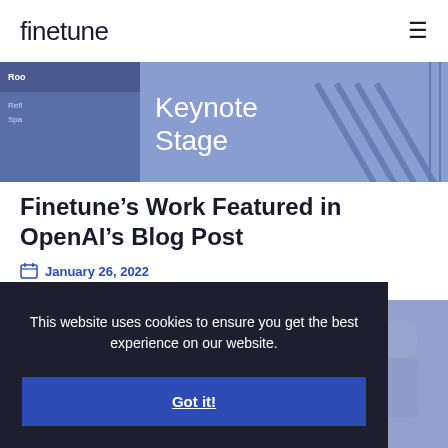finetune
[Figure (photo): Keynote Stage sign with blue-toned conference background showing partial text 'Rooftop Reflection Space' and geometric blue patterns]
Finetune’s Work Featured in OpenAI’s Blog Post
January 26, 2022
This website uses cookies to ensure you get the best experience on our website.
Got it!